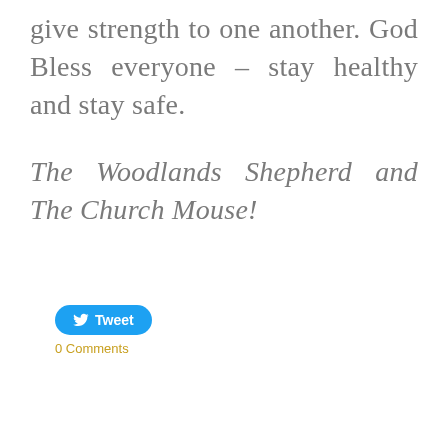give strength to one another. God Bless everyone – stay healthy and stay safe.
The Woodlands Shepherd and The Church Mouse!
[Figure (other): Twitter Tweet button (blue rounded rectangle with bird icon and 'Tweet' text)]
0 Comments